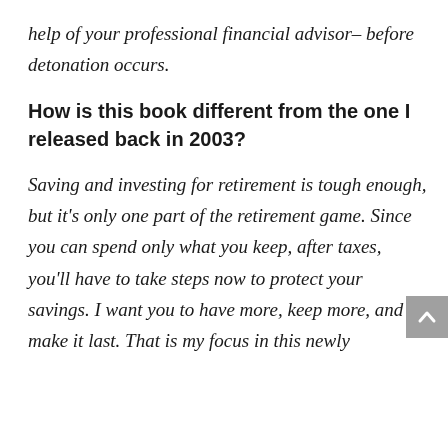help of your professional financial advisor– before detonation occurs.
How is this book different from the one I released back in 2003?
Saving and investing for retirement is tough enough, but it's only one part of the retirement game. Since you can spend only what you keep, after taxes, you'll have to take steps now to protect your savings. I want you to have more, keep more, and make it last. That is my focus in this newly